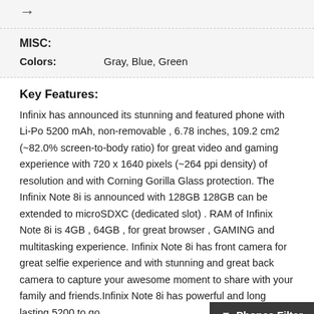MISC:
Colors:    Gray, Blue, Green
Key Features:
Infinix has announced its stunning and featured phone with Li-Po 5200 mAh, non-removable , 6.78 inches, 109.2 cm2 (~82.0% screen-to-body ratio) for great video and gaming experience with 720 x 1640 pixels (~264 ppi density) of resolution and with Corning Gorilla Glass protection. The Infinix Note 8i is announced with 128GB 128GB can be extended to microSDXC (dedicated slot) . RAM of Infinix Note 8i is 4GB , 64GB , for great browser , GAMING and multitasking experience. Infinix Note 8i has front camera for great selfie experience and with stunning and great back camera to capture your awesome moment to share with your family and friends.Infinix Note 8i has powerful and long lasting 5200 to go